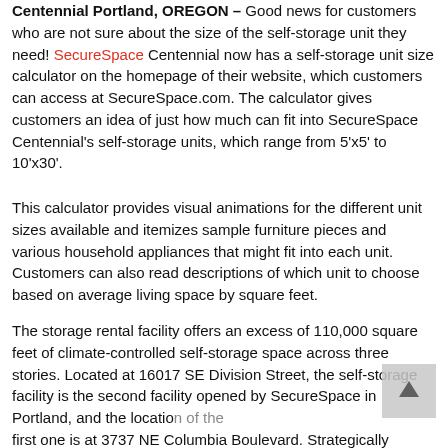Centennial Portland, OREGON – Good news for customers who are not sure about the size of the self-storage unit they need! SecureSpace Centennial now has a self-storage unit size calculator on the homepage of their website, which customers can access at SecureSpace.com. The calculator gives customers an idea of just how much can fit into SecureSpace Centennial's self-storage units, which range from 5'x5' to 10'x30'.
This calculator provides visual animations for the different unit sizes available and itemizes sample furniture pieces and various household appliances that might fit into each unit. Customers can also read descriptions of which unit to choose based on average living space by square feet.
The storage rental facility offers an excess of 110,000 square feet of climate-controlled self-storage space across three stories. Located at 16017 SE Division Street, the self-storage facility is the second facility opened by SecureSpace in Portland, and the location of the first one is at 3737 NE Columbia Boulevard. Strategically located to